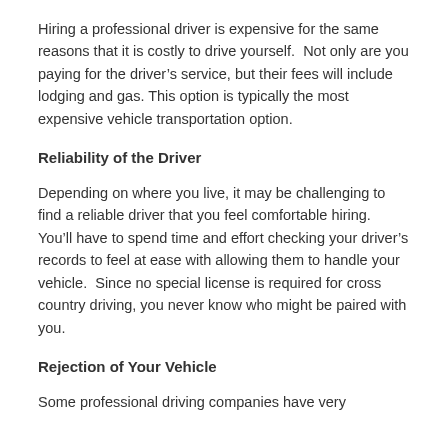Hiring a professional driver is expensive for the same reasons that it is costly to drive yourself.  Not only are you paying for the driver's service, but their fees will include lodging and gas. This option is typically the most expensive vehicle transportation option.
Reliability of the Driver
Depending on where you live, it may be challenging to find a reliable driver that you feel comfortable hiring.  You'll have to spend time and effort checking your driver's records to feel at ease with allowing them to handle your vehicle.  Since no special license is required for cross country driving, you never know who might be paired with you.
Rejection of Your Vehicle
Some professional driving companies have very